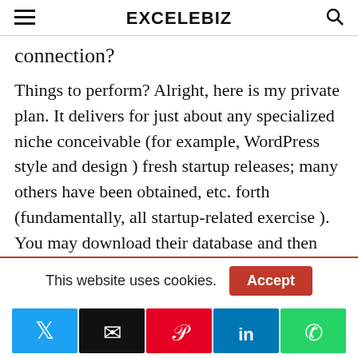EXCELEBIZ
connection?
Things to perform? Alright, here is my private plan. It delivers for just about any specialized niche conceivable (for example, WordPress style and design ) fresh startup releases; many others have been obtained, etc. forth (fundamentally, all startup-related exercise ). You may download their database and then navigate it from classification. This way, you’re able to spot new organizations who’ve only gotten financed and need the
This website uses cookies.
[Figure (infographic): Social sharing buttons: Twitter (blue), Email (black), Pinterest (red), LinkedIn (blue), WhatsApp (green)]